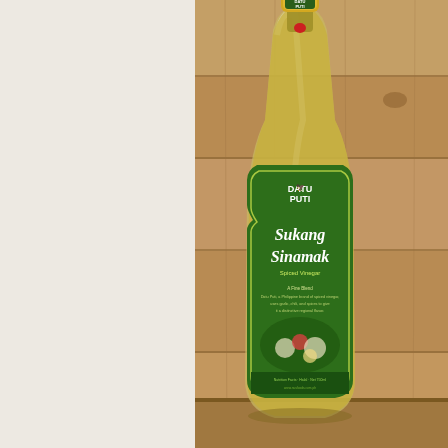[Figure (photo): A bottle of Datu Puti Sukang Sinamak (spiced vinegar) with a green label, gold cap with red seal, containing amber-colored liquid, photographed against a wooden plank background. The left third of the image is white/blank.]